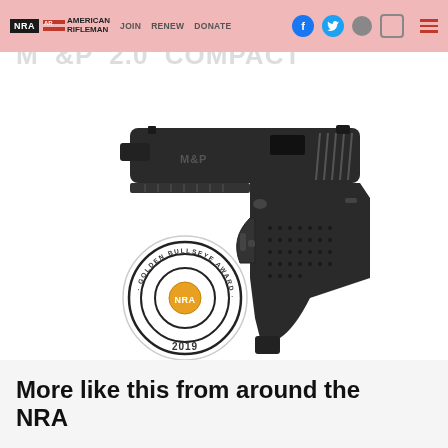NRA American Rifleman | JOIN | RENEW | DONATE
M&P 2.0 COMPACT
[Figure (photo): Smith & Wesson M&P 2.0 Compact pistol, black finish, shown with NRA Golden Bullseye Award 2019 badge overlay]
9MM -15RDS | 40S&W -13RDS
More like this from around the NRA